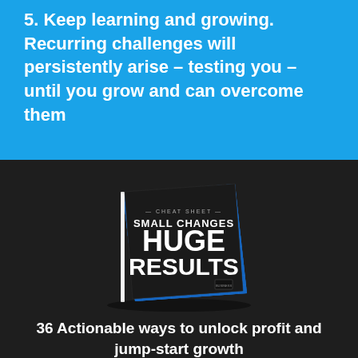5. Keep learning and growing. Recurring challenges will persistently arise – testing you – until you grow and can overcome them
[Figure (photo): A book titled 'CHEAT SHEET: SMALL CHANGES HUGE RESULTS' displayed at an angle on a dark background with a blue blueprint-style cover on the back]
36 Actionable ways to unlock profit and jump-start growth